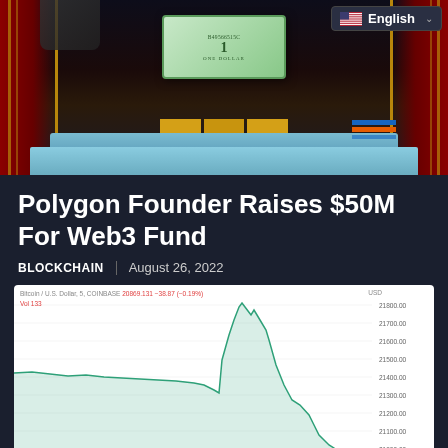[Figure (illustration): Hero image showing a one dollar bill with decorative curtains, gold bars, and pile of cryptocurrency coins/bills in a dark dramatic setting. English language selector badge visible in top right corner.]
Polygon Founder Raises $50M For Web3 Fund
BLOCKCHAIN | August 26, 2022
[Figure (continuous-plot): Bitcoin/U.S. Dollar 5-minute candlestick/line chart from COINBASE showing price around 20869.131 with change -38.87 (-0.19%). Vol 133. Price ranges shown on right Y-axis: 20900.00, 21000.00, 21100.00, 21200.00, 21300.00, 21400.00, 21500.00, 21600.00, 21700.00, 21800.00. Chart shows green area chart going up to a peak around 21800 then dropping sharply in red down to around 20900.]